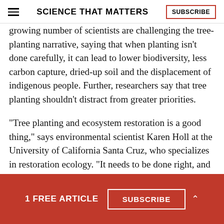SCIENCE THAT MATTERS
growing number of scientists are challenging the tree-planting narrative, saying that when planting isn't done carefully, it can lead to lower biodiversity, less carbon capture, dried-up soil and the displacement of indigenous people. Further, researchers say that tree planting shouldn't distract from greater priorities.
“Tree planting and ecosystem restoration is a good thing,” says environmental scientist Karen Holl at the University of California Santa Cruz, who specializes in restoration ecology. “It needs to be done right, and
1 FREE ARTICLE  SUBSCRIBE